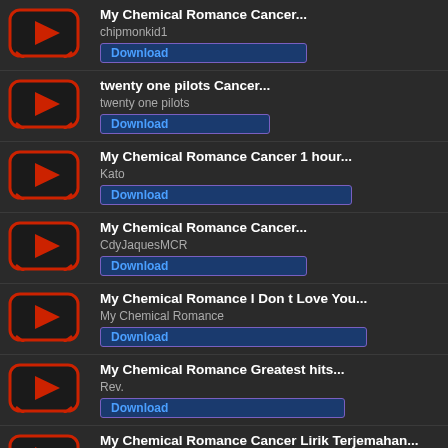My Chemical Romance Cancer...
chipmonkid1
Download
twenty one pilots Cancer...
twenty one pilots
Download
My Chemical Romance Cancer 1 hour...
Kato
Download
My Chemical Romance Cancer...
CdyJaquesMCR
Download
My Chemical Romance I Don t Love You...
My Chemical Romance
Download
My Chemical Romance Greatest hits...
Rev.
Download
My Chemical Romance Cancer Lirik Terjemahan...
Indolirik
Download